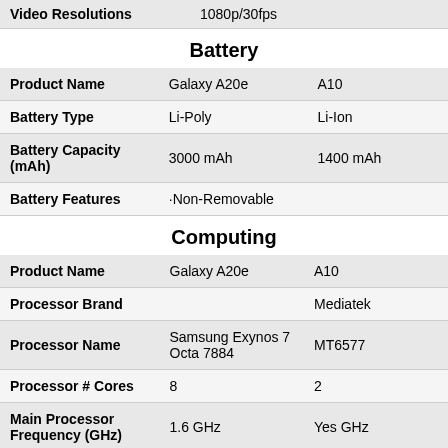|  | Galaxy A20e | A10 |
| --- | --- | --- |
| Video Resolutions | 1080p/30fps |  |
| Product Name | Galaxy A20e | A10 |
| Battery Type | Li-Poly | Li-Ion |
| Battery Capacity (mAh) | 3000 mAh | 1400 mAh |
| Battery Features | ·Non-Removable |  |
Battery
Computing
|  | Galaxy A20e | A10 |
| --- | --- | --- |
| Product Name | Galaxy A20e | A10 |
| Processor Brand |  | Mediatek |
| Processor Name | Samsung Exynos 7 Octa 7884 | MT6577 |
| Processor # Cores | 8 | 2 |
| Main Processor Frequency (GHz) | 1.6 GHz | Yes GHz |
| RAM Options | 3GB | 0.5GB |
| Internal Storage | 32GB | 8GB |